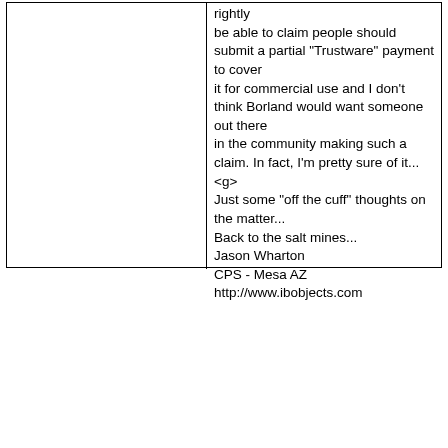rightly be able to claim people should submit a partial "Trustware" payment to cover it for commercial use and I don't think Borland would want someone out there in the community making such a claim. In fact, I'm pretty sure of it... <g> Just some "off the cuff" thoughts on the matter... Back to the salt mines... Jason Wharton CPS - Mesa AZ http://www.ibobjects.com